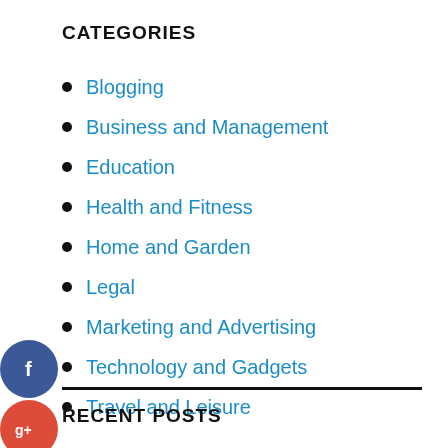CATEGORIES
Blogging
Business and Management
Education
Health and Fitness
Home and Garden
Legal
Marketing and Advertising
Technology and Gadgets
Travel and Leisure
[Figure (infographic): Social media share icons: Facebook (blue circle with f), Google+ (red circle with g+), Twitter (blue circle with bird), and a dark plus circle]
RECENT POSTS